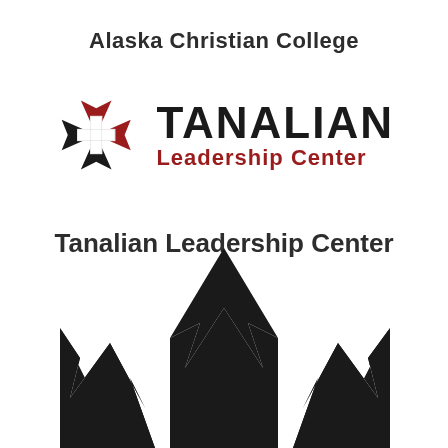Alaska Christian College
[Figure (logo): Tanalian Leadership Center logo: a four-pointed star/compass shape in black and red with a cross in the center, next to the text TANALIAN in bold black and Leadership Center in red]
Tanalian Leadership Center
[Figure (illustration): Black silhouette illustration of mountain peaks, partially shown at the bottom of the page]